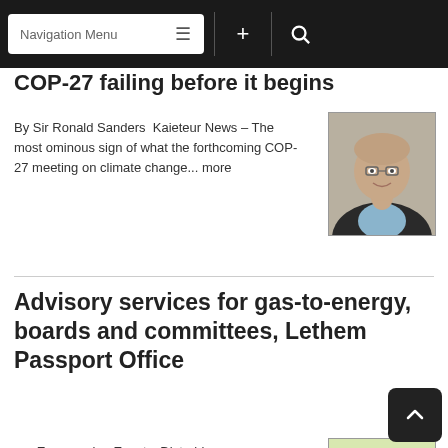Navigation Menu
COP-27 failing before it begins
By Sir Ronald Sanders  Kaieteur News – The most ominous sign of what the forthcoming COP-27 meeting on climate change... more
[Figure (photo): Portrait photo of Sir Ronald Sanders, a man with glasses and a suit with light blue shirt]
Advisory services for gas-to-energy, boards and committees, Lethem Passport Office
>>>Encouraging Events, Disturbing Developments<<< By GHK Lall Kaieteur News – I want a gas-to-energy... more
[Figure (photo): Portrait photo of GHK Lall, a bald man with glasses in a light shirt with a green tie]
Publisher's Note